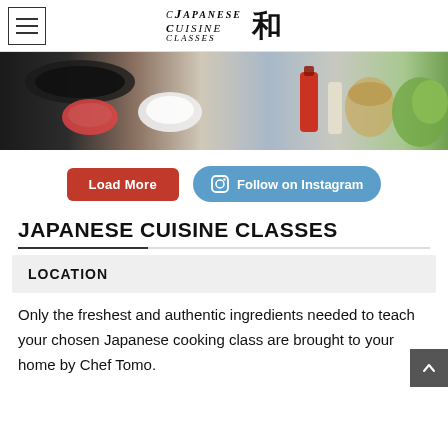Japanese Cuisine Classes 和
[Figure (photo): Photo of Japanese cooking ingredients and cooking setup on a table]
Load More | Follow on Instagram
JAPANESE CUISINE CLASSES
LOCATION
Only the freshest and authentic ingredients needed to teach your chosen Japanese cooking class are brought to your home by Chef Tomo.